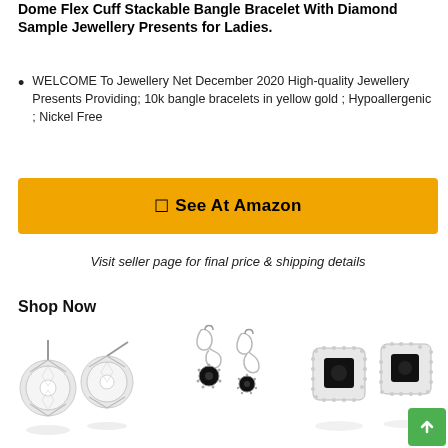Dome Flex Cuff Stackable Bangle Bracelet With Diamond Sample Jewellery Presents for Ladies.
WELCOME To Jewellery Net December 2020 High-quality Jewellery Presents Providing; 10k bangle bracelets in yellow gold ; Hypoallergenic ; Nickel Free
See At Amazon
Visit seller page for final price & shipping details
Shop Now
[Figure (photo): Three pairs of earrings: diamond stud earrings, infinity drop earrings with black stones, and black square halo earrings]